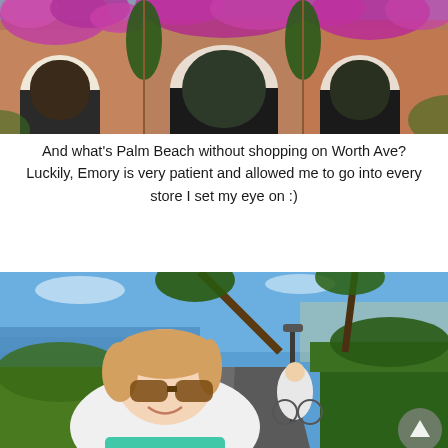[Figure (photo): Wide panoramic photo of a building facade with pink and purple bougainvillea flowers covering arched entrances and walls.]
And what's Palm Beach without shopping on Worth Ave? Luckily, Emory is very patient and allowed me to go into every store I set my eye on :)
[Figure (photo): GoPro-style wide-angle photo of a woman with sunglasses smiling while riding a bicycle on a shaded path near a waterway, with a man on a bicycle visible in the background.]